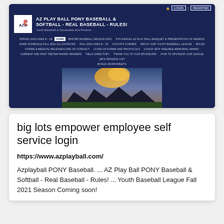[Figure (screenshot): Screenshot of AZ Play Ball Pony Baseball & Softball website showing navigation header with dark blue background, logo, site title, navigation menu rows, and a hero image of a baseball field at sunset.]
big lots empower employee self service login
https://www.azplayball.com/
Azplayball PONY Baseball. ... AZ Play Ball PONY Baseball & Softball - Real Baseball - Rules! ... Youth Baseball League Fall 2021 Season Coming soon!